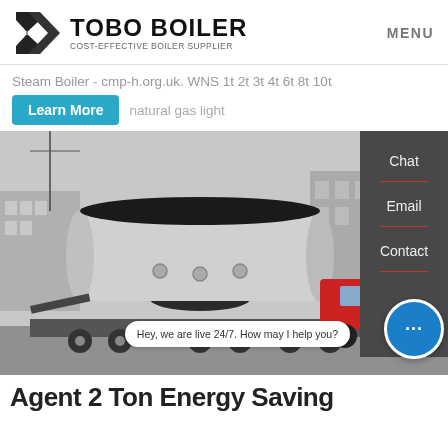[Figure (logo): TOBO BOILER logo with black angular icon and text 'COST-EFFECTIVE BOILER SUPPLIER']
MENU
Steam Boiler - cmp-h.org.uk. WNS 1t 2t 3t 4t 6t 8t 10t
Learn More   natural gas light
[Figure (photo): Large industrial steam boiler on a flatbed truck being transported, outdoors in an industrial area. Black and white/grey tone photo.]
Hey, we are live 24/7. How may I help you?
Agent 2 Ton Energy Saving